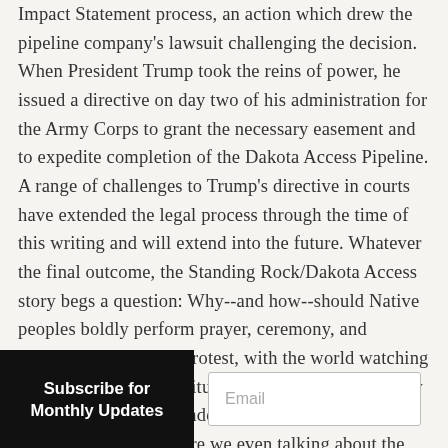Impact Statement process, an action which drew the pipeline company's lawsuit challenging the decision. When President Trump took the reins of power, he issued a directive on day two of his administration for the Army Corps to grant the necessary easement and to expedite completion of the Dakota Access Pipeline. A range of challenges to Trump's directive in courts have extended the legal process through the time of this writing and will extend into the future. Whatever the final outcome, the Standing Rock/Dakota Access story begs a question: Why--and how--should Native peoples boldly perform prayer, ceremony, and encampment itself as protest, with the world watching and admiring their spiritual resolve, and not have any meaningful recourse under religious freedom law? Why, in other words, are we even talking about the
Subscribe for Monthly Updates
Email